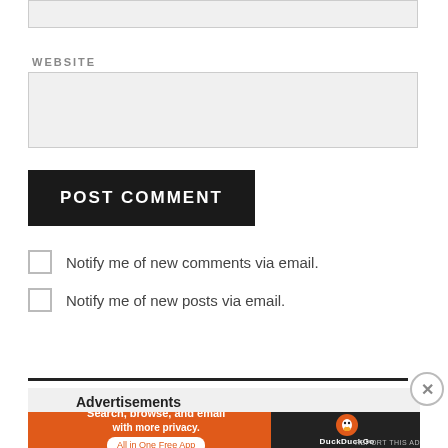[Figure (screenshot): Website form input box (empty text field at top of page)]
WEBSITE
[Figure (screenshot): Website URL input text field (empty, light gray background)]
POST COMMENT
Notify me of new comments via email.
Notify me of new posts via email.
Advertisements
[Figure (screenshot): DuckDuckGo advertisement banner: Search, browse, and email with more privacy. All in One Free App. Orange left side with text, dark right side with DuckDuckGo duck logo.]